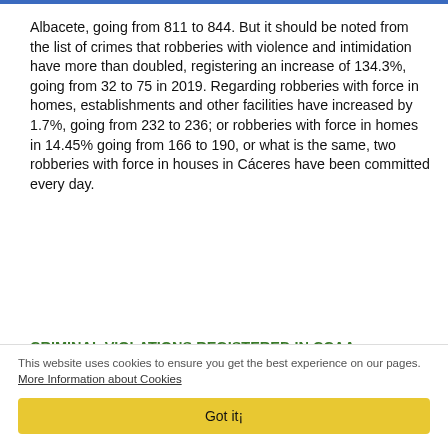Albacete, going from 811 to 844. But it should be noted from the list of crimes that robberies with violence and intimidation have more than doubled, registering an increase of 134.3%, going from 32 to 75 in 2019. Regarding robberies with force in homes, establishments and other facilities have increased by 1.7%, going from 232 to 236; or robberies with force in homes in 14.45% going from 166 to 190, or what is the same, two robberies with force in houses in Cáceres have been committed every day.
CRIMINAL VIOLATIONS REGISTERED IN CCAAs, PROVINCES, ISLANDS, CAPITAL AND LOCATIONS WITH A POPULATION OVER 30,000 INHABITANTS
How to avoid the theft of houses in Avila? by the